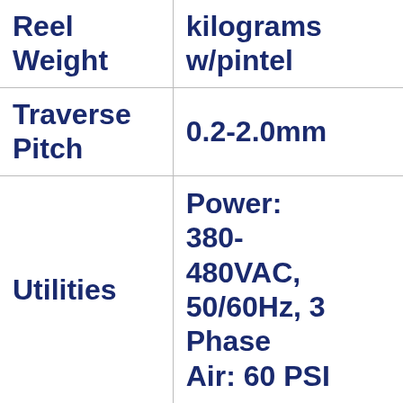| Property | Value |
| --- | --- |
| Reel Weight | kilograms w/pintel |
| Traverse Pitch | 0.2-2.0mm |
| Utilities | Power: 380-480VAC, 50/60Hz, 3 Phase
Air: 60 PSI |